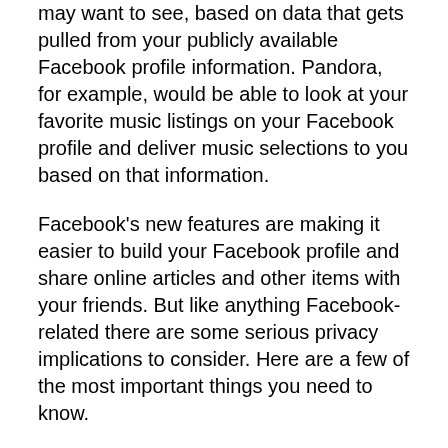may want to see, based on data that gets pulled from your publicly available Facebook profile information. Pandora, for example, would be able to look at your favorite music listings on your Facebook profile and deliver music selections to you based on that information.
Facebook's new features are making it easier to build your Facebook profile and share online articles and other items with your friends. But like anything Facebook-related there are some serious privacy implications to consider. Here are a few of the most important things you need to know.
How Websites handle your data
Before we discuss these new features, let's look at